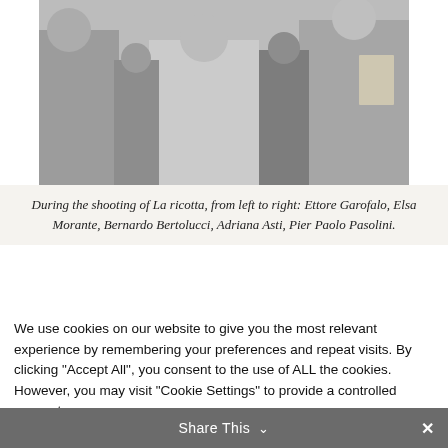[Figure (photo): Black and white photograph of a group of people during the shooting of La ricotta. Several individuals are visible, with one person in a light-colored polo shirt at center.]
During the shooting of La ricotta, from left to right: Ettore Garofalo, Elsa Morante, Bernardo Bertolucci, Adriana Asti, Pier Paolo Pasolini.
We use cookies on our website to give you the most relevant experience by remembering your preferences and repeat visits. By clicking "Accept All", you consent to the use of ALL the cookies. However, you may visit "Cookie Settings" to provide a controlled consent.
Cookie Settings | Accept All
Share This ∨